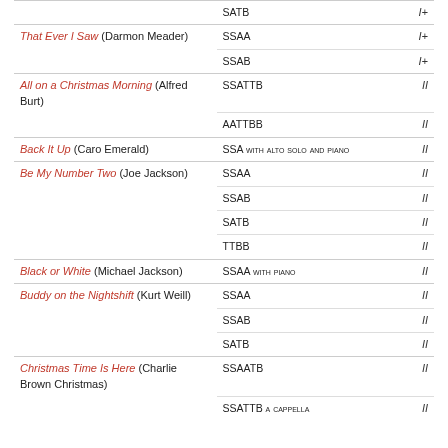| Title | Voicing | Level |
| --- | --- | --- |
|  | SATB | I+ |
| That Ever I Saw (Darmon Meader) | SSAA | I+ |
|  | SSAB | I+ |
| All on a Christmas Morning (Alfred Burt) | SSATTB | II |
|  | AATTBB | II |
| Back It Up (Caro Emerald) | SSA with alto solo and piano | II |
| Be My Number Two (Joe Jackson) | SSAA | II |
|  | SSAB | II |
|  | SATB | II |
|  | TTBB | II |
| Black or White (Michael Jackson) | SSAA with piano | II |
| Buddy on the Nightshift (Kurt Weill) | SSAA | II |
|  | SSAB | II |
|  | SATB | II |
| Christmas Time Is Here (Charlie Brown Christmas) | SSAATB | II |
|  | SSATTB a cappella | II |